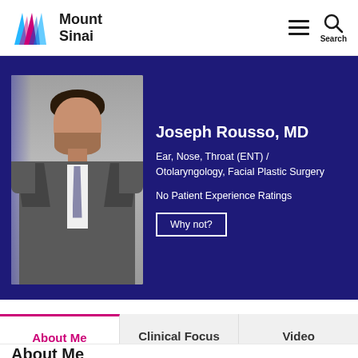[Figure (logo): Mount Sinai logo with colorful M-shape and text 'Mount Sinai']
[Figure (photo): Professional headshot of Dr. Joseph Rousso in a gray suit and tie against a gray background]
Joseph Rousso, MD
Ear, Nose, Throat (ENT) / Otolaryngology, Facial Plastic Surgery
No Patient Experience Ratings
Why not?
About Me
Clinical Focus
Video
About Me